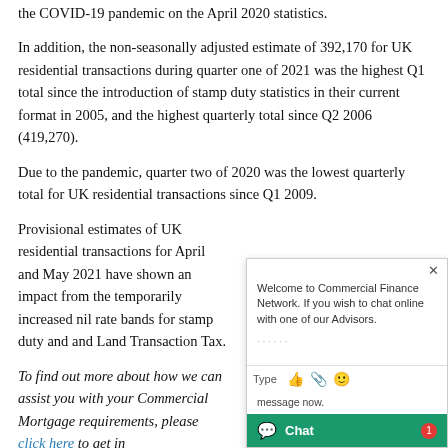the COVID-19 pandemic on the April 2020 statistics.
In addition, the non-seasonally adjusted estimate of 392,170 for UK residential transactions during quarter one of 2021 was the highest Q1 total since the introduction of stamp duty statistics in their current format in 2005, and the highest quarterly total since Q2 2006 (419,270).
Due to the pandemic, quarter two of 2020 was the lowest quarterly total for UK residential transactions since Q1 2009.
Provisional estimates of UK residential transactions for April and May 2021 have shown an impact from the temporarily increased nil rate bands for stamp duty and and Land Transaction Tax.
To find out more about how we can assist you with your Commercial Mortgage requirements, please click here to get in touch.
Following year-on-year decreases in April and May 2020